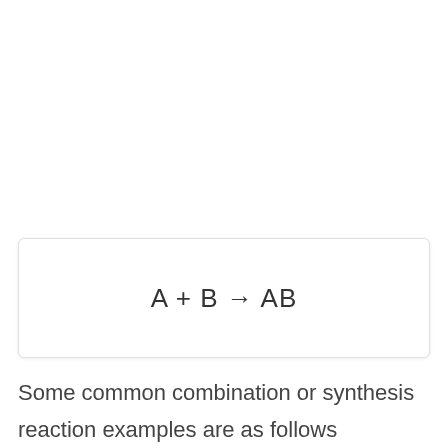Some common combination or synthesis reaction examples are as follows